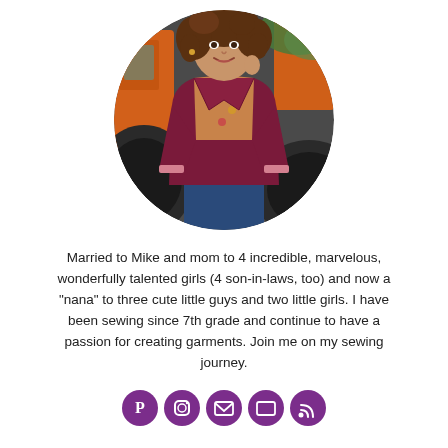[Figure (photo): Circular cropped photo of a smiling woman with curly brown hair, wearing a burgundy/maroon jacket over a floral blouse and jeans, standing in front of an orange tractor and large tires with greenery in background.]
Married to Mike and mom to 4 incredible, marvelous, wonderfully talented girls (4 son-in-laws, too) and now a "nana" to three cute little guys and two little girls. I have been sewing since 7th grade and continue to have a passion for creating garments. Join me on my sewing journey.
[Figure (other): Five circular purple social media icon buttons in a row: Pinterest, Instagram, Email, another icon, and RSS/feed icon.]